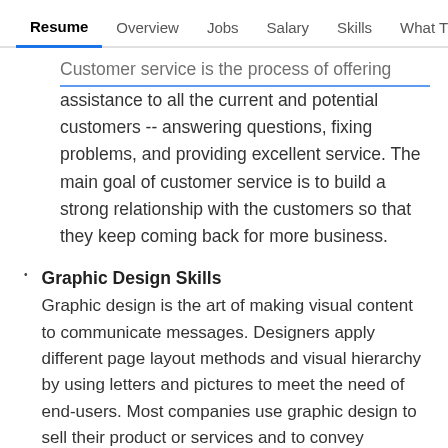Resume | Overview | Jobs | Salary | Skills | What They >
Customer service is the process of offering assistance to all the current and potential customers -- answering questions, fixing problems, and providing excellent service. The main goal of customer service is to build a strong relationship with the customers so that they keep coming back for more business.
Graphic Design Skills
Graphic design is the art of making visual content to communicate messages. Designers apply different page layout methods and visual hierarchy by using letters and pictures to meet the need of end-users. Most companies use graphic design to sell their product or services and to convey complicated information by using infographics.
Art History Skills